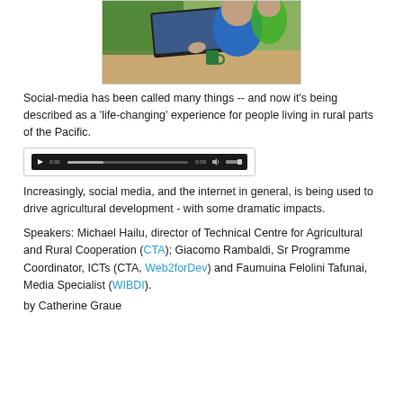[Figure (photo): A man in a blue polo shirt working on a laptop at a table with colorful fabric in the background; another person visible behind him.]
Social-media has been called many things -- and now it's being described as a 'life-changing' experience for people living in rural parts of the Pacific.
[Figure (screenshot): An embedded video player with a dark progress bar control strip.]
Increasingly, social media, and the internet in general, is being used to drive agricultural development - with some dramatic impacts.
Speakers: Michael Hailu, director of Technical Centre for Agricultural and Rural Cooperation (CTA); Giacomo Rambaldi, Sr Programme Coordinator, ICTs (CTA, Web2forDev) and Faumuina Felolini Tafunai, Media Specialist (WIBDI).
by Catherine Graue